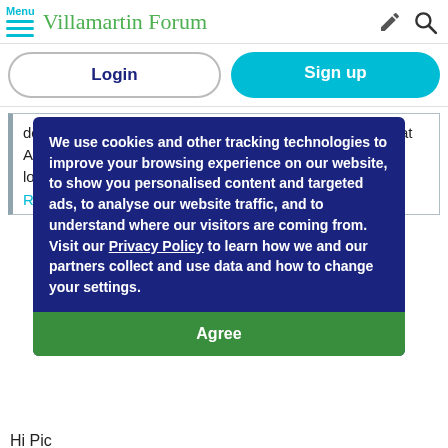Menu | Villamartin Forum
Login | Sign up
does any of us want another lockdown and when I say that Andy I mean a SPANISH lockdown not a do what ya lik lockdo e... Rea
We use cookies and other tracking technologies to improve your browsing experience on our website, to show you personalised content and targeted ads, to analyse our website traffic, and to understand where our visitors are coming from. Visit our Privacy Policy to learn how we and our partners collect and use data and how to change your settings.
Agree
Hi Pic
Hence I said as soon as possible. Imagine what's it's like!  I prey that you never lost a friend or family member to this horrible pandemic
I have lost a person I've known for twenty years , so You can imagine.